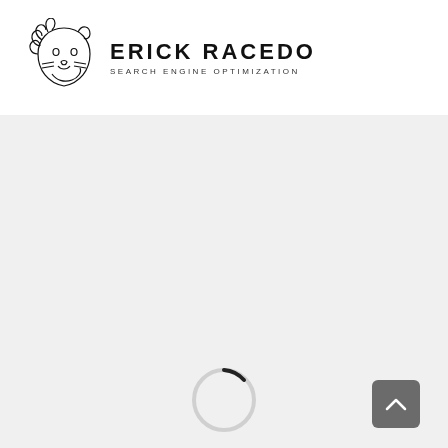[Figure (logo): Erick Racedo SEO logo with lion head illustration and text 'ERICK RACEDO SEARCH ENGINE OPTIMIZATION']
[Figure (other): Gray content area (loading spinner and scroll-to-top button visible)]